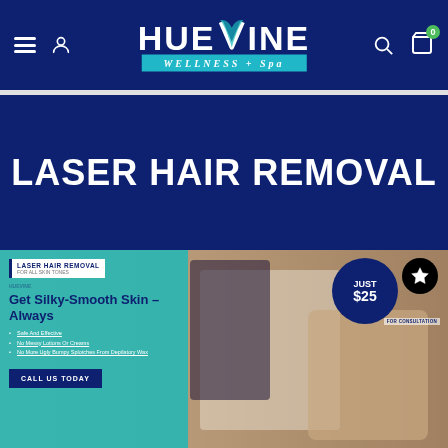[Figure (screenshot): Huevine Wellness + Spa website navigation header with logo, hamburger menu, person icon, search icon, and cart icon with badge showing 0]
LASER HAIR REMOVAL
[Figure (photo): Promotional image for laser hair removal service showing a client receiving laser hair removal treatment lying in a chair wearing protective goggles while a technician applies laser device to armpit area. Overlay on left shows 'LASER HAIR REMOVAL FOR ALL SKIN TONES', 'Get Silky-Smooth Skin – Always', bullet points listing Safe And Effective, No Messy Lotions Or Creams, No More Ugly Bumpy Splotches From Depilatory Wax, and a CALL US TODAY button. Top right shows a circular badge reading JUST $25 FOR CONSULTATION with a star icon.]